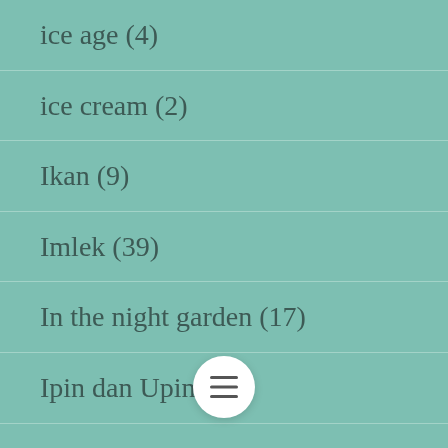ice age (4)
ice cream (2)
Ikan (9)
Imlek (39)
In the night garden (17)
Ipin dan Upin (67)
Ipod, Gameboy n Blackberry (332)
Ipod, Gameboy n Blackberry part 2 (27)